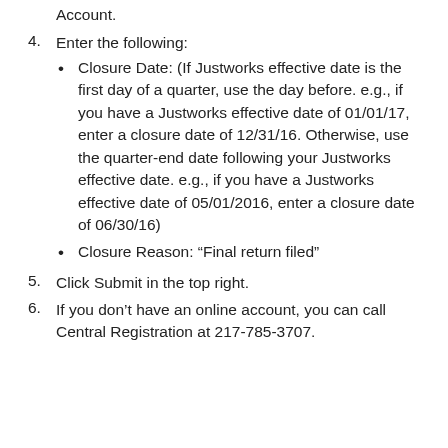Account.
4. Enter the following:
Closure Date: (If Justworks effective date is the first day of a quarter, use the day before. e.g., if you have a Justworks effective date of 01/01/17, enter a closure date of 12/31/16. Otherwise, use the quarter-end date following your Justworks effective date. e.g., if you have a Justworks effective date of 05/01/2016, enter a closure date of 06/30/16)
Closure Reason: “Final return filed”
5. Click Submit in the top right.
6. If you don’t have an online account, you can call Central Registration at 217-785-3707.